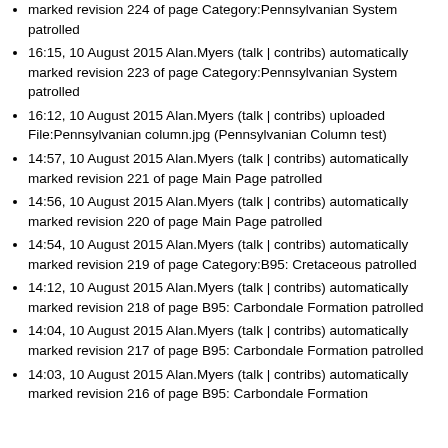marked revision 224 of page Category:Pennsylvanian System patrolled
16:15, 10 August 2015 Alan.Myers (talk | contribs) automatically marked revision 223 of page Category:Pennsylvanian System patrolled
16:12, 10 August 2015 Alan.Myers (talk | contribs) uploaded File:Pennsylvanian column.jpg (Pennsylvanian Column test)
14:57, 10 August 2015 Alan.Myers (talk | contribs) automatically marked revision 221 of page Main Page patrolled
14:56, 10 August 2015 Alan.Myers (talk | contribs) automatically marked revision 220 of page Main Page patrolled
14:54, 10 August 2015 Alan.Myers (talk | contribs) automatically marked revision 219 of page Category:B95: Cretaceous patrolled
14:12, 10 August 2015 Alan.Myers (talk | contribs) automatically marked revision 218 of page B95: Carbondale Formation patrolled
14:04, 10 August 2015 Alan.Myers (talk | contribs) automatically marked revision 217 of page B95: Carbondale Formation patrolled
14:03, 10 August 2015 Alan.Myers (talk | contribs) automatically marked revision 216 of page B95: Carbondale Formation